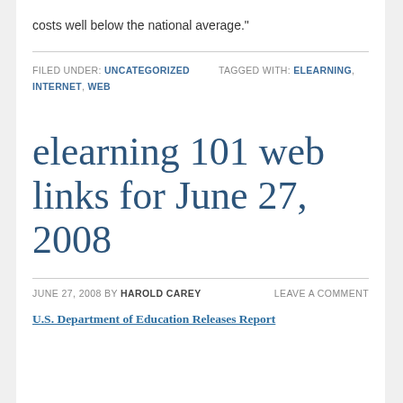costs well below the national average."
FILED UNDER: UNCATEGORIZED  TAGGED WITH: ELEARNING, INTERNET, WEB
elearning 101 web links for June 27, 2008
JUNE 27, 2008 BY HAROLD CAREY  LEAVE A COMMENT
U.S. Department of Education Releases Report